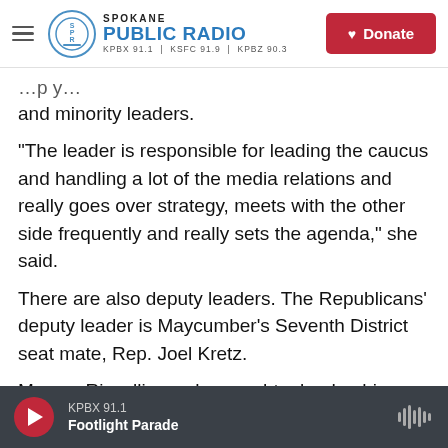Spokane Public Radio — KPBX 91.1 | KSFC 91.9 | KPBZ 90.3 — Donate
and minority leaders.
“The leader is responsible for leading the caucus and handling a lot of the media relations and really goes over strategy, meets with the other side frequently and really sets the agenda,” she said.
There are also deputy leaders. The Republicans’ deputy leader is Maycumber’s Seventh District seat mate, Rep. Joel Kretz.
Marcus Riccelli says he sought a leadership position to ensure that Spokane’s and eastern
KPBX 91.1 — Footlight Parade